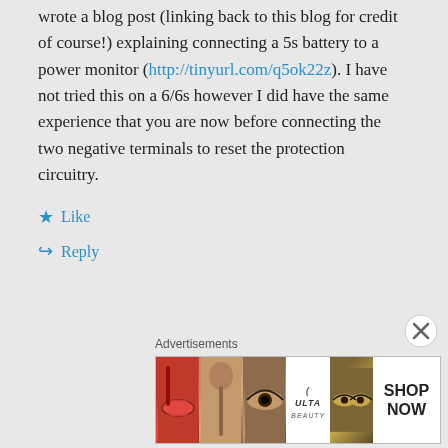wrote a blog post (linking back to this blog for credit of course!) explaining connecting a 5s battery to a power monitor (http://tinyurl.com/q5ok22z). I have not tried this on a 6/6s however I did have the same experience that you are now before connecting the two negative terminals to reset the protection circuitry.
★ Like
↳ Reply
Advertisements
[Figure (photo): Advertisement banner showing beauty/makeup products and ULTA logo with SHOP NOW text]